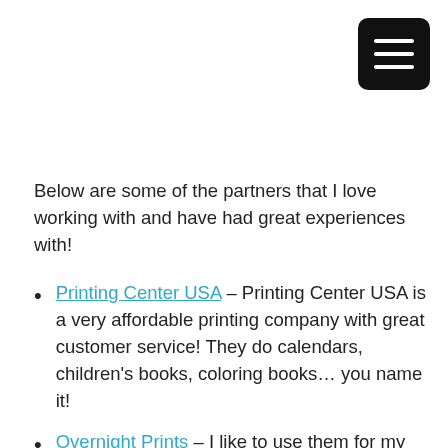[Figure (other): Hamburger menu button — black rounded rectangle with three white horizontal lines]
Below are some of the partners that I love working with and have had great experiences with!
Printing Center USA – Printing Center USA is a very affordable printing company with great customer service! They do calendars, children's books, coloring books… you name it!
Overnight Prints – I like to use them for my smaller projects like bookmarks, greeting cards,